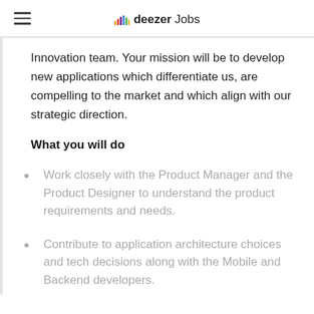deezer Jobs
Innovation team. Your mission will be to develop new applications which differentiate us, are compelling to the market and which align with our strategic direction.
What you will do
Work closely with the Product Manager and the Product Designer to understand the product requirements and needs.
Contribute to application architecture choices and tech decisions along with the Mobile and Backend developers.